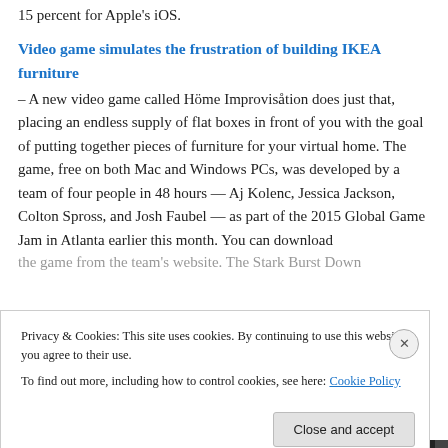15 percent for Apple's iOS.
Video game simulates the frustration of building IKEA furniture
– A new video game called Höme Improvisåtion does just that, placing an endless supply of flat boxes in front of you with the goal of putting together pieces of furniture for your virtual home. The game, free on both Mac and Windows PCs, was developed by a team of four people in 48 hours — Aj Kolenc, Jessica Jackson, Colton Spross, and Josh Faubel — as part of the 2015 Global Game Jam in Atlanta earlier this month. You can download the game from the team's website. The Stark Burst Down...
Privacy & Cookies: This site uses cookies. By continuing to use this website, you agree to their use.
To find out more, including how to control cookies, see here: Cookie Policy
Close and accept